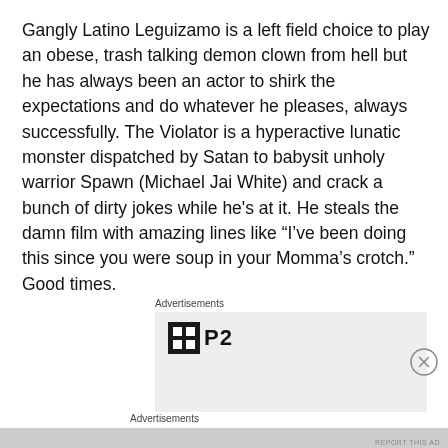Gangly Latino Leguizamo is a left field choice to play an obese, trash talking demon clown from hell but he has always been an actor to shirk the expectations and do whatever he pleases, always successfully. The Violator is a hyperactive lunatic monster dispatched by Satan to babysit unholy warrior Spawn (Michael Jai White) and crack a bunch of dirty jokes while he's at it. He steals the damn film with amazing lines like “I’ve been doing this since you were soup in your Momma's crotch.” Good times.
Advertisements
[Figure (logo): Advertisement box with P2 logo — dark square icon with grid pattern next to bold text 'P2']
Advertisements